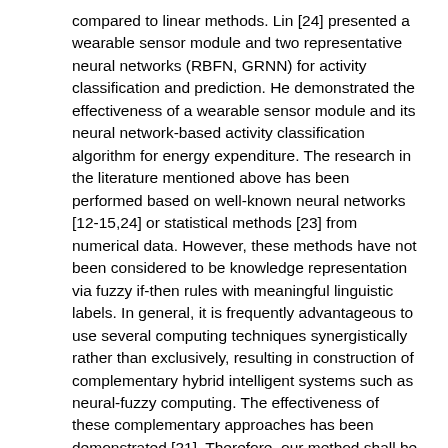compared to linear methods. Lin [24] presented a wearable sensor module and two representative neural networks (RBFN, GRNN) for activity classification and prediction. He demonstrated the effectiveness of a wearable sensor module and its neural network-based activity classification algorithm for energy expenditure. The research in the literature mentioned above has been performed based on well-known neural networks [12-15,24] or statistical methods [23] from numerical data. However, these methods have not been considered to be knowledge representation via fuzzy if-then rules with meaningful linguistic labels. In general, it is frequently advantageous to use several computing techniques synergistically rather than exclusively, resulting in construction of complementary hybrid intelligent systems such as neural-fuzzy computing. The effectiveness of these complementary approaches has been demonstrated [21]. Therefore, our method shall be developed to possess intensive computational ability, together with meaningful linguistic labels [16].
This paper focuses on a method for designing an